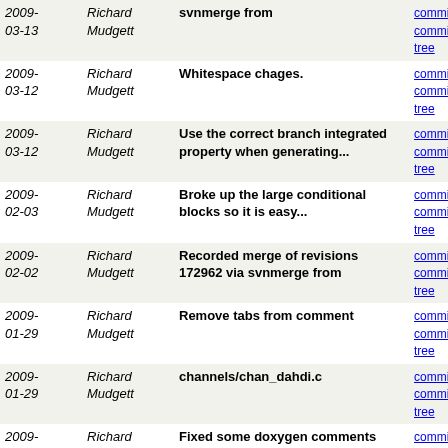| Date | Author | Message | Links |
| --- | --- | --- | --- |
| 2009-03-13 | Richard Mudgett | svnmerge from | commit | commitdiff | tree |
| 2009-03-12 | Richard Mudgett | Whitespace chages. | commit | commitdiff | tree |
| 2009-03-12 | Richard Mudgett | Use the correct branch integrated property when generating... | commit | commitdiff | tree |
| 2009-02-03 | Richard Mudgett | Broke up the large conditional blocks so it is easy... | commit | commitdiff | tree |
| 2009-02-02 | Richard Mudgett | Recorded merge of revisions 172962 via svnmerge from | commit | commitdiff | tree |
| 2009-01-29 | Richard Mudgett | Remove tabs from comment | commit | commitdiff | tree |
| 2009-01-29 | Richard Mudgett | channels/chan_dahdi.c | commit | commitdiff | tree |
| 2009-01-29 | Richard Mudgett | Fixed some doxygen comments | commit | commitdiff | tree |
| 2009-01-23 | Richard Mudgett | Fix asterisk.pdf generation if branch name has an underscore... | commit | commitdiff | tree |
| 2009-01-22 | Richard Mudgett | * Adjust some conditionals to balance curly braces. | commit | commitdiff | tree |
| 2009-01-22 | Richard Mudgett | Whitespace changes only | commit | commitdiff | tree |
| 2009-01-14 | Richard Mudgett | Merged revisions 168622 via svnmerge from | commit | commitdiff | tree |
| 2009-01-09 | Richard Mudgett | Spacing change | commit | commitdiff | tree |
next